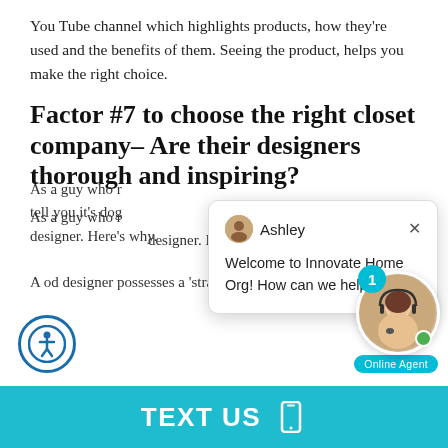YouTube channel which highlights products, how they're used and the benefits of them. Seeing the product, helps you make the right choice.
Factor #7 to choose the right closet company– Are their designers thorough and inspiring?
As a guy who runs a closet company, I can tell you it's dog gone hard to find a good designer. Here's why.
A good designer possesses a 'strange' combi
[Figure (screenshot): Chat popup from Ashley at Innovate Home Org saying 'Welcome to Innovate Home Org! How can we help you?' with a close button]
[Figure (photo): Online agent widget showing a female agent with headset, notification badge showing 1, green online dot, and Online Agent label]
[Figure (illustration): Accessibility icon button (person in circle) on bottom left]
TEXT US